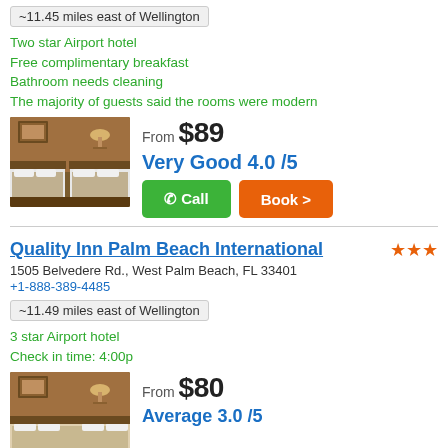~11.45 miles east of Wellington
Two star Airport hotel
Free complimentary breakfast
Bathroom needs cleaning
The majority of guests said the rooms were modern
From $89
Very Good 4.0 /5
[Figure (photo): Hotel room with two beds, warm lighting, artwork on wall]
Quality Inn Palm Beach International
1505 Belvedere Rd., West Palm Beach, FL 33401
+1-888-389-4485
~11.49 miles east of Wellington
3 star Airport hotel
Check in time: 4:00p
From $80
Average 3.0 /5
[Figure (photo): Hotel room with warm lighting, artwork on wall]